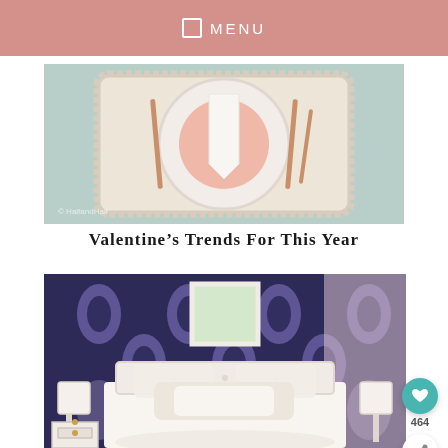MENU
[Figure (photo): Overhead view of a Valentine's Day table setting with pink plates, white ruffled placemat, white napkin, and rose gold cutlery on a blue/teal background]
Valentine's Trends For This Year
[Figure (photo): Bedroom with dark navy damask-patterned wallpaper, white tufted headboard, cream and gold pillows, white bed linens, white nightstand with brass hardware, and white lamps on either side]